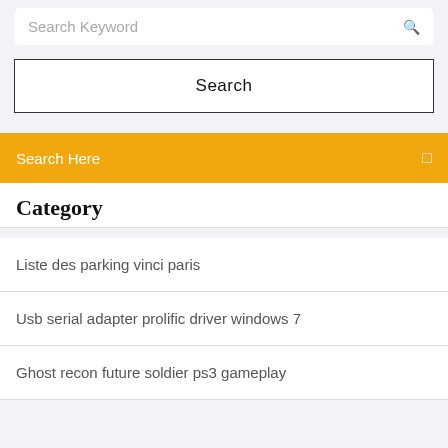Search Keyword
Search
Search Here
Category
Liste des parking vinci paris
Usb serial adapter prolific driver windows 7
Ghost recon future soldier ps3 gameplay